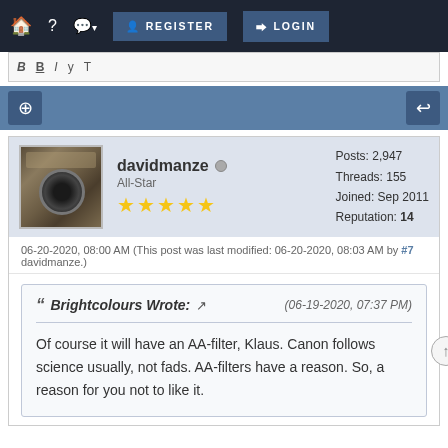🏠  ?  💬▾  REGISTER  LOGIN
[Figure (screenshot): Forum toolbar with formatting buttons (B, B, I, y, T)]
[Figure (infographic): Blue action bar with search/zoom icon on left and reply arrow icon on right]
davidmanze  All-Star  ★★★★★  Posts: 2,947  Threads: 155  Joined: Sep 2011  Reputation: 14
06-20-2020, 08:00 AM (This post was last modified: 06-20-2020, 08:03 AM by davidmanze.)  #7
❝ Brightcolours Wrote:  🔗  (06-19-2020, 07:37 PM)
Of course it will have an AA-filter, Klaus. Canon follows science usually, not fads. AA-filters have a reason. So, a reason for you not to like it.